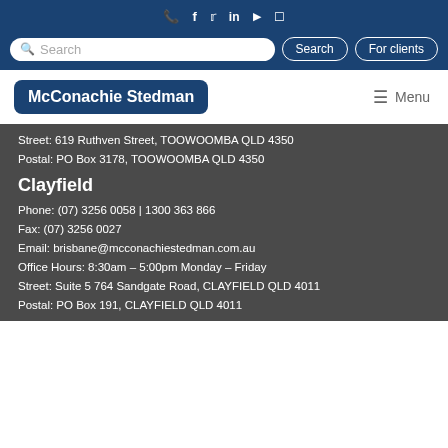phone facebook twitter linkedin youtube instagram
Search | Search | For clients
[Figure (logo): McConachie Stedman logo with Menu navigation]
Street: 619 Ruthven Street, TOOWOOMBA QLD 4350
Postal: PO Box 3178, TOOWOOMBA QLD 4350
Clayfield
Phone: (07) 3256 0058 | 1300 363 866
Fax: (07) 3256 0027
Email: brisbane@mcconachiestedman.com.au
Office Hours: 8:30am – 5:00pm Monday – Friday
Street: Suite 5 764 Sandgate Road, CLAYFIELD QLD 4011
Postal: PO Box 191, CLAYFIELD QLD 4011